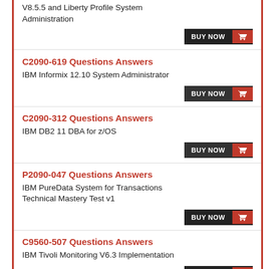V8.5.5 and Liberty Profile System Administration
C2090-619 Questions Answers
IBM Informix 12.10 System Administrator
C2090-312 Questions Answers
IBM DB2 11 DBA for z/OS
P2090-047 Questions Answers
IBM PureData System for Transactions Technical Mastery Test v1
C9560-507 Questions Answers
IBM Tivoli Monitoring V6.3 Implementation